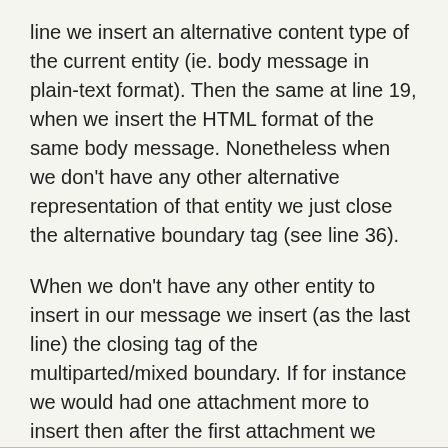line we insert an alternative content type of the current entity (ie. body message in plain-text format). Then the same at line 19, when we insert the HTML format of the same body message. Nonetheless when we don't have any other alternative representation of that entity we just close the alternative boundary tag (see line 36).
When we don't have any other entity to insert in our message we insert (as the last line) the closing tag of the multiparted/mixed boundary. If for instance we would had one attachment more to insert then after the first attachment we would insert a new line then a new opening tag of multiparted/mixed boundary and the attachment section as the one between lines 38-51.
A working example of PHP send html mail with attachment is presented below: